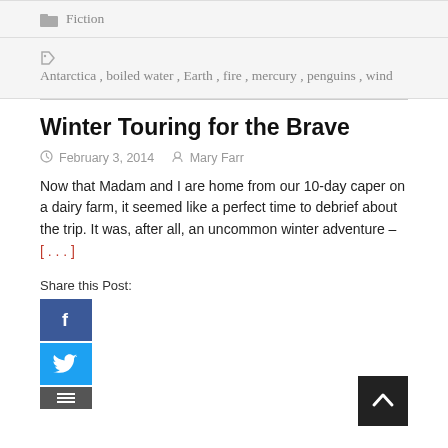Fiction
Antarctica, boiled water, Earth, fire, mercury, penguins, wind
Winter Touring for the Brave
February 3, 2014   Mary Farr
Now that Madam and I are home from our 10-day caper on a dairy farm, it seemed like a perfect time to debrief about the trip. It was, after all, an uncommon winter adventure – [. . .]
Share this Post: